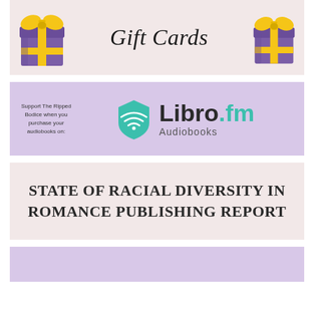[Figure (illustration): Promotional banner with two purple gift boxes with yellow ribbons on either side, and 'Gift Cards' text in italic serif font in the center, on a pinkish-beige background.]
[Figure (illustration): Promotional banner on a light purple/lavender background. Left side has small text 'Support The Ripped Bodice when you purchase your audiobooks on:'. Center has a teal shield/headphone logo followed by 'Libro.fm' in large text (Libro in dark, .fm in teal) and 'Audiobooks' below.]
STATE OF RACIAL DIVERSITY IN ROMANCE PUBLISHING REPORT
[Figure (illustration): Partial lavender/purple banner at the bottom of the page, partially cut off.]